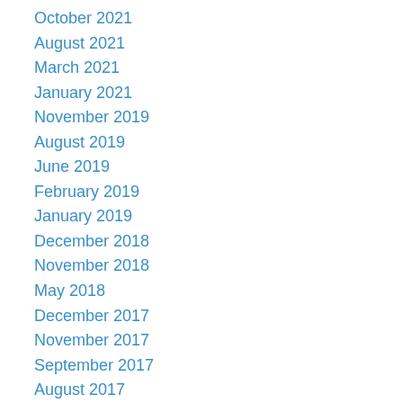October 2021
August 2021
March 2021
January 2021
November 2019
August 2019
June 2019
February 2019
January 2019
December 2018
November 2018
May 2018
December 2017
November 2017
September 2017
August 2017
July 2017
June 2017
May 2017
March 2017